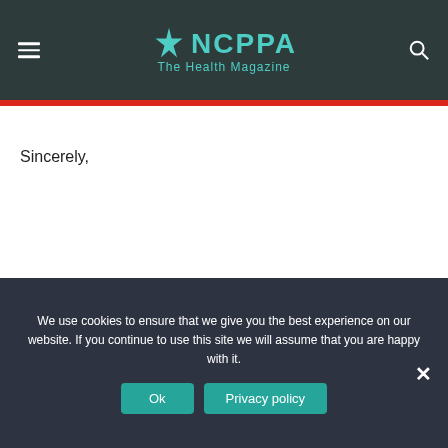NCPPA The Health Magazine
Sincerely,
[Figure (infographic): Social share buttons: Facebook (blue), Twitter (light blue), WhatsApp (green)]
We use cookies to ensure that we give you the best experience on our website. If you continue to use this site we will assume that you are happy with it.